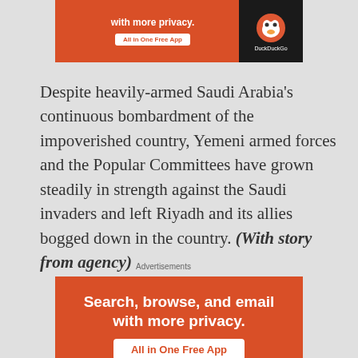[Figure (other): Partial DuckDuckGo advertisement banner (top portion cut off) showing orange background with white bold text 'with more privacy. All in One Free App' and DuckDuckGo logo on dark background]
Despite heavily-armed Saudi Arabia's continuous bombardment of the impoverished country, Yemeni armed forces and the Popular Committees have grown steadily in strength against the Saudi invaders and left Riyadh and its allies bogged down in the country. (With story from agency)
Advertisements
[Figure (other): DuckDuckGo advertisement showing orange background with white bold text 'Search, browse, and email with more privacy.' and a white button 'All in One Free App', with a smartphone image showing the DuckDuckGo duck logo]